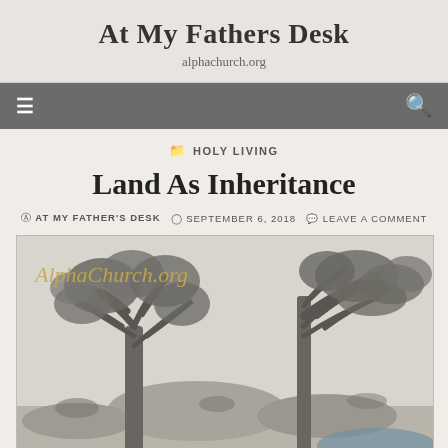At My Fathers Desk
alphachurch.org
HOLY LIVING
Land As Inheritance
AT MY FATHER'S DESK  SEPTEMBER 6, 2018  LEAVE A COMMENT
[Figure (photo): Black and white photograph of large eucalyptus/gum trees against a light sky with rocky landscape in background. Watermark text 'AlphaChurch.org' in gold/olive color overlaid on upper left.]